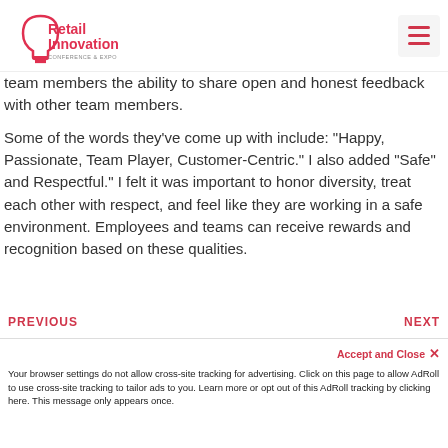Retail Innovation Conference & Expo
team members the ability to share open and honest feedback with other team members.
Some of the words they've come up with include: "Happy, Passionate, Team Player, Customer-Centric." I also added "Safe" and Respectful." I felt it was important to honor diversity, treat each other with respect, and feel like they are working in a safe environment. Employees and teams can receive rewards and recognition based on these qualities.
PREVIOUS   NEXT
Accept and Close ×
Your browser settings do not allow cross-site tracking for advertising. Click on this page to allow AdRoll to use cross-site tracking to tailor ads to you. Learn more or opt out of this AdRoll tracking by clicking here. This message only appears once.